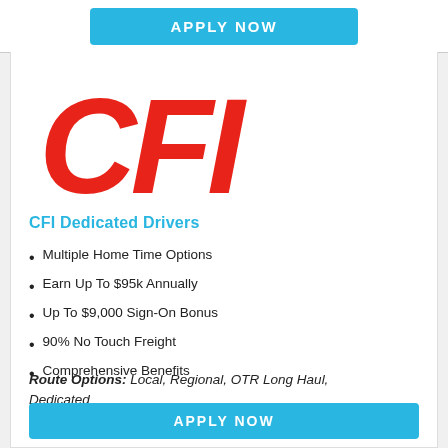[Figure (logo): APPLY NOW button in cyan/blue at top of page]
[Figure (logo): CFI logo in large red bold italic text]
CFI Dedicated Drivers
Multiple Home Time Options
Earn Up To $95k Annually
Up To $9,000 Sign-On Bonus
90% No Touch Freight
Comprehensive Benefits
Route Options: Local, Regional, OTR Long Haul, Dedicated
[Figure (other): APPLY NOW button in cyan/blue at bottom of page]